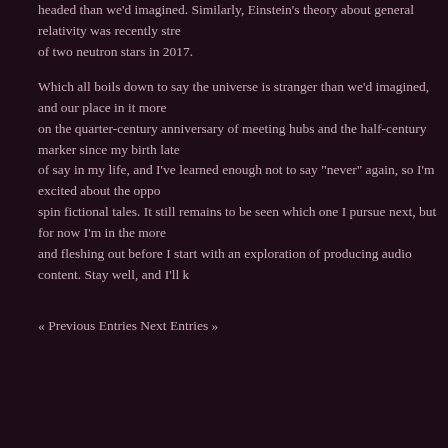headed than we'd imagined. Similarly, Einstein's theory about general relativity was recently strengthened by the collision of two neutron stars in 2017.
Which all boils down to say the universe is stranger than we'd imagined, and our place in it more uncertain. I'm reflecting on the quarter-century anniversary of meeting hubs and the half-century marker since my birth later this year. It's a good time to take stock of say in my life, and I've learned enough not to say "never" again, so I'm excited about the opportunities ahead. I still have stories to spin fictional tales. It still remains to be seen which one I pursue next, but for now I'm in the more pleasurable stage of ideas to develop and fleshing out before I start with an exploration of producing audio content. Stay well, and I'll k
« Previous Entries Next Entries »